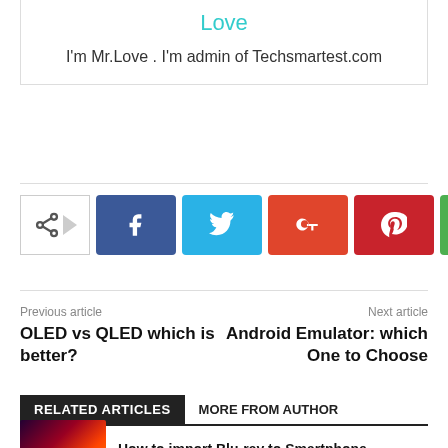Love
I'm Mr.Love . I'm admin of Techsmartest.com
[Figure (infographic): Social share buttons: Facebook, Twitter, Google+, Pinterest, WhatsApp]
Previous article
OLED vs QLED which is better?
Next article
Android Emulator: which One to Choose
RELATED ARTICLES   MORE FROM AUTHOR
How to import Blu-ray to Smartphone